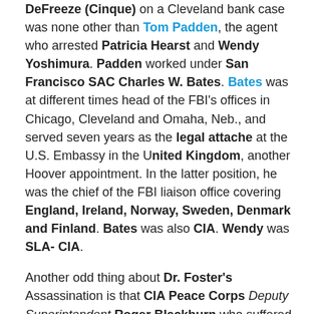DeFreeze (Cinque) on a Cleveland bank case was none other than Tom Padden, the agent who arrested Patricia Hearst and Wendy Yoshimura. Padden worked under San Francisco SAC Charles W. Bates. Bates was at different times head of the FBI's offices in Chicago, Cleveland and Omaha, Neb., and served seven years as the legal attache at the U.S. Embassy in the United Kingdom, another Hoover appointment. In the latter position, he was the chief of the FBI liaison office covering England, Ireland, Norway, Sweden, Denmark and Finland. Bates was also CIA. Wendy was SLA- CIA.
Another odd thing about Dr. Foster's Assassination is that CIA Peace Corps Deputy Superintendent Roger Blackburn who suffered some shotgun pellet injuries that saw the assassins told police and the press that Panthers killed Dr. Foster. I was over 400 miles away